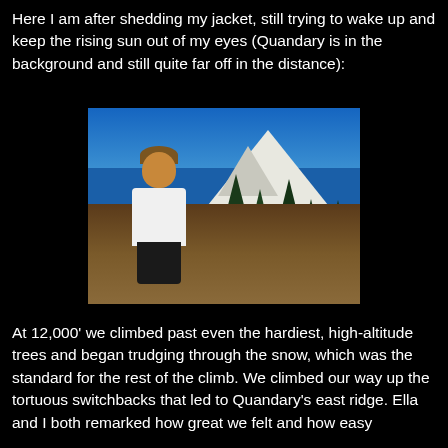Here I am after shedding my jacket, still trying to wake up and keep the rising sun out of my eyes (Quandary is in the background and still quite far off in the distance):
[Figure (photo): A man in a white t-shirt and dark pants standing outdoors with a snow-capped mountain (Quandary Peak) in the background, surrounded by evergreen trees and rocky terrain under a blue sky.]
At 12,000' we climbed past even the hardiest, high-altitude trees and began trudging through the snow, which was the standard for the rest of the climb. We climbed our way up the tortuous switchbacks that led to Quandary's east ridge. Ella and I both remarked how great we felt and how easy